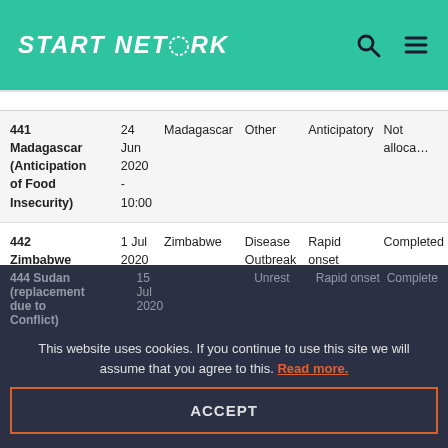START NETWORK
| ID/Name | Date | Country | Type | Onset | Status |
| --- | --- | --- | --- | --- | --- |
| 441 Madagascar (Anticipation of Food Insecurity) | 24 Jun 2020 - 10:00 | Madagascar | Other | Anticipatory | Not allocated |
| 442 Zimbabwe (Diarrhoea Outbreak) | 1 Jul 2020 - 17:00 | Zimbabwe | Disease Outbreak | Rapid onset | Completed |
| 443 DRC (Fire) | 8 Jul 2020 - 14:45 | Congo [DRC] | Fire | Rapid onset | Completed |
| 444 Sudan (replacement due to Conflict) | 15 Jul 2020 | Sudan | Unrest | Rapid onset | Completed |
This website uses cookies. If you continue to use this site we will assume that you agree to this. Read more.
ACCEPT